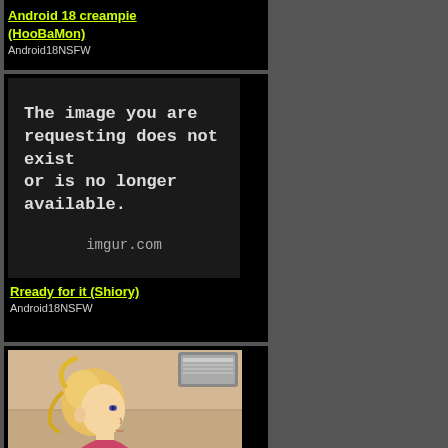Android 18 creampie (HooBaMon)
Android18NSFW
[Figure (illustration): Error image placeholder from imgur.com: 'The image you are requesting does not exist or is no longer available.']
Rready for it (Shiory)
Android18NSFW
[Figure (illustration): Anime-style illustration showing a blonde female character from behind/side view in a room setting]